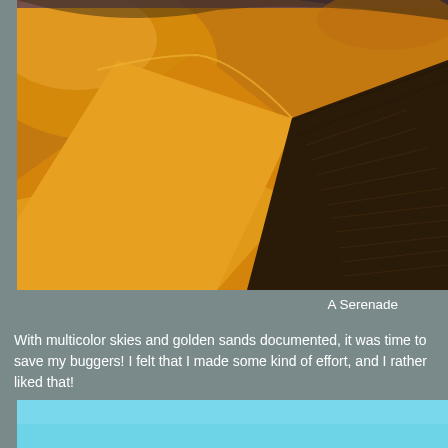[Figure (photo): Close-up photograph of golden desert sand dunes with deep shadows creating dramatic contrast between bright orange-yellow sand and dark shadowed areas with ripple texture patterns.]
A Serenade
With multicolor skies and golden sands documented, it was time to save my buggers!  I felt that I made some kind of effort, and I rather liked that!
[Figure (photo): Partial view of a photo with light blue sky background, bottom portion visible.]